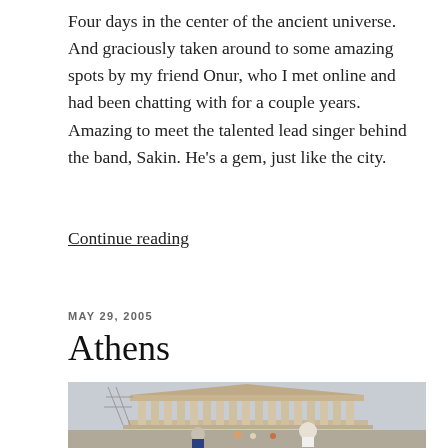Four days in the center of the ancient universe. And graciously taken around to some amazing spots by my friend Onur, who I met online and had been chatting with for a couple years. Amazing to meet the talented lead singer behind the band, Sakin. He's a gem, just like the city.
Continue reading
MAY 29, 2005
Athens
[Figure (photo): Photo of a man standing in front of the Parthenon in Athens, Greece. The Parthenon is visible with scaffolding on the left side. Several other people are visible in the foreground.]